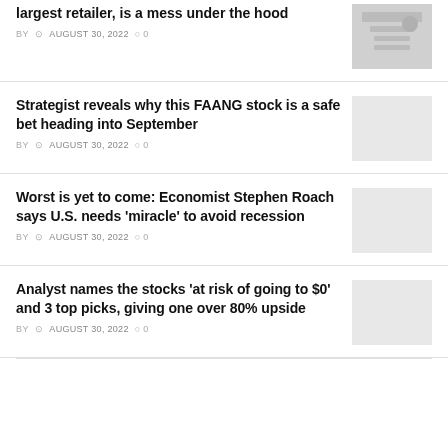largest retailer, is a mess under the hood
BY  AUGUST 30, 2022  0
Strategist reveals why this FAANG stock is a safe bet heading into September
BY  AUGUST 30, 2022  0
Worst is yet to come: Economist Stephen Roach says U.S. needs 'miracle' to avoid recession
BY  AUGUST 30, 2022  0
Analyst names the stocks 'at risk of going to $0' and 3 top picks, giving one over 80% upside
BY  AUGUST 30, 2022  0